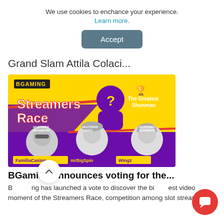We use cookies to enchance your experience. Learn more.
Accept
Grand Slam Attila Colaci...
[Figure (illustration): BGaming Streamers Race promotional banner featuring three streamers: FamiliaCasino, mrBigSpin, and Wingz, with The Greatest Showman trophy and a mystery silhouette with a question mark.]
BGaming announces voting for the...
BGaming has launched a vote to discover the biggest video moment of the Streamers Race, competition among slot streamers...